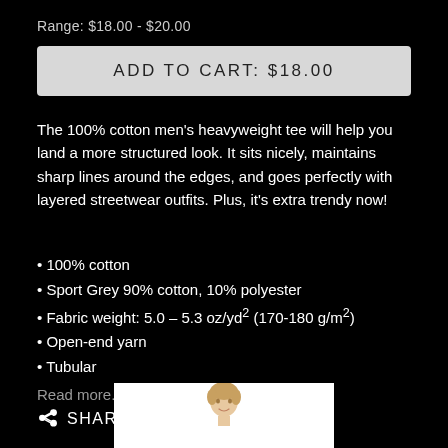Range: $18.00 - $20.00
ADD TO CART: $18.00
The 100% cotton men's heavyweight tee will help you land a more structured look. It sits nicely, maintains sharp lines around the edges, and goes perfectly with layered streetwear outfits. Plus, it's extra trendy now!
100% cotton
Sport Grey 90% cotton, 10% polyester
Fabric weight: 5.0 – 5.3 oz/yd² (170-180 g/m²)
Open-end yarn
Tubular
Read more...
SHARE
[Figure (photo): Photo of a young male model shown from shoulders/head up, on white background]